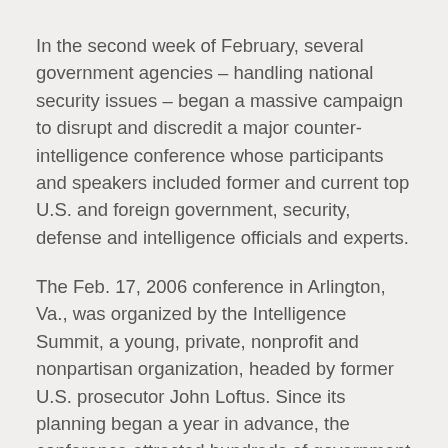In the second week of February, several government agencies – handling national security issues – began a massive campaign to disrupt and discredit a major counter-intelligence conference whose participants and speakers included former and current top U.S. and foreign government, security, defense and intelligence officials and experts.
The Feb. 17, 2006 conference in Arlington, Va., was organized by the Intelligence Summit, a young, private, nonprofit and nonpartisan organization, headed by former U.S. prosecutor John Loftus. Since its planning began a year in advance, the conference attracted hundreds of government officials, security analysts, intelligence, counter-terrorism officers and corporate executives to speak and attend hundreds of sessions over three days.